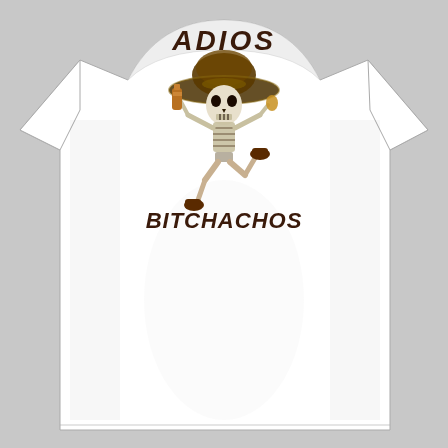[Figure (photo): A white women's fitted t-shirt worn by a person. The shirt has a graphic design on the chest area showing a running skeleton character wearing a large sombrero hat and holding bottles, with the text 'ADIOS' above and 'BITCHACHOS' below the skeleton illustration.]